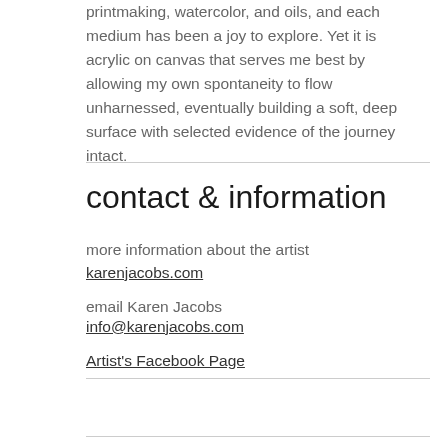printmaking, watercolor, and oils, and each medium has been a joy to explore. Yet it is acrylic on canvas that serves me best by allowing my own spontaneity to flow unharnessed, eventually building a soft, deep surface with selected evidence of the journey intact.
contact & information
more information about the artist
karenjacobs.com
email Karen Jacobs
info@karenjacobs.com
Artist's Facebook Page